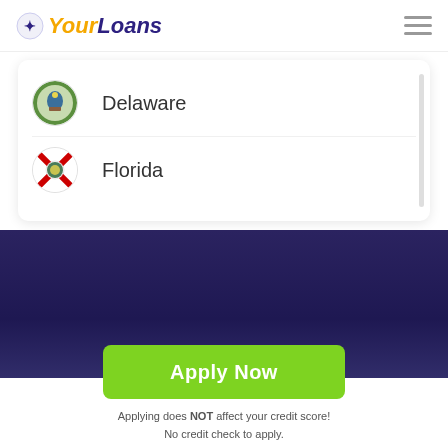[Figure (logo): YourLoans logo with icon, yellow 'Your' and purple 'Loans' text]
Delaware
Florida
[Figure (infographic): Dark navy/purple gradient background band]
Apply Now
Applying does NOT affect your credit score!
No credit check to apply.